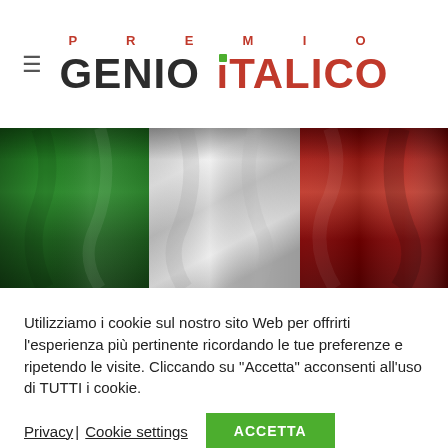PREMIO GENIO ITALICO
[Figure (illustration): Italian tricolor flag (green, white, red) rendered as draped fabric with silky folds.]
Utilizziamo i cookie sul nostro sito Web per offrirti l'esperienza più pertinente ricordando le tue preferenze e ripetendo le visite. Cliccando su "Accetta" acconsenti all'uso di TUTTI i cookie.
Privacy| Cookie settings  ACCETTA